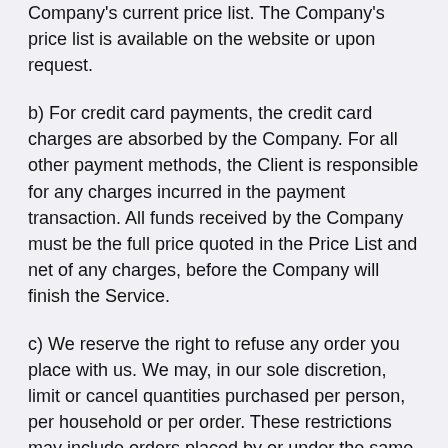Company's current price list. The Company's price list is available on the website or upon request.
b) For credit card payments, the credit card charges are absorbed by the Company. For all other payment methods, the Client is responsible for any charges incurred in the payment transaction. All funds received by the Company must be the full price quoted in the Price List and net of any charges, before the Company will finish the Service.
c) We reserve the right to refuse any order you place with us. We may, in our sole discretion, limit or cancel quantities purchased per person, per household or per order. These restrictions may include orders placed by or under the same customer account, the same credit card, and/or orders that use the same billing and/or shipping address. In the event that we make a change to or cancel an order,